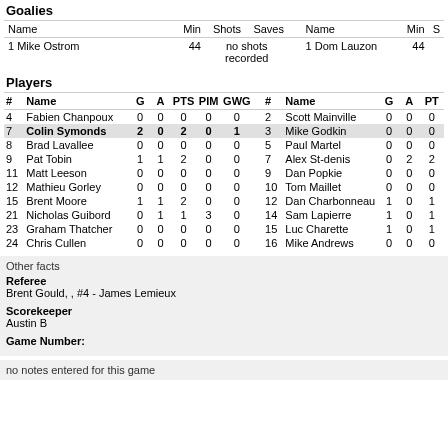Goalies
| Name | Min | Shots | Saves | Name | Min | S |
| --- | --- | --- | --- | --- | --- | --- |
| 1 Mike Ostrom | 44 | no shots recorded |  | 1 Dom Lauzon | 44 |  |
Players
| # | Name | G | A | PTS | PIM | GWG | # | Name | G | A | PT |
| --- | --- | --- | --- | --- | --- | --- | --- | --- | --- | --- | --- |
| 4 | Fabien Chanpoux | 0 | 0 | 0 | 0 | 0 | 2 | Scott Mainville | 0 | 0 | 0 |
| 7 | Colin Symonds | 2 | 0 | 2 | 0 | 1 | 3 | Mike Godkin | 0 | 0 | 0 |
| 8 | Brad Lavallee | 0 | 0 | 0 | 0 | 0 | 5 | Paul Martel | 0 | 0 | 0 |
| 9 | Pat Tobin | 1 | 1 | 2 | 0 | 0 | 7 | Alex St-denis | 0 | 2 | 2 |
| 11 | Matt Leeson | 0 | 0 | 0 | 0 | 0 | 9 | Dan Popkie | 0 | 0 | 0 |
| 12 | Mathieu Gorley | 0 | 0 | 0 | 0 | 0 | 10 | Tom Maillet | 0 | 0 | 0 |
| 15 | Brent Moore | 1 | 1 | 2 | 0 | 0 | 12 | Dan Charbonneau | 1 | 0 | 1 |
| 21 | Nicholas Guibord | 0 | 1 | 1 | 3 | 0 | 14 | Sam Lapierre | 1 | 0 | 1 |
| 23 | Graham Thatcher | 0 | 0 | 0 | 0 | 0 | 15 | Luc Charette | 1 | 0 | 1 |
| 24 | Chris Cullen | 0 | 0 | 0 | 0 | 0 | 16 | Mike Andrews | 0 | 0 | 0 |
Other facts
Referee
Brent Gould, , #4 - James Lemieux
Scorekeeper
Austin B
Game Number:
no notes entered for this game